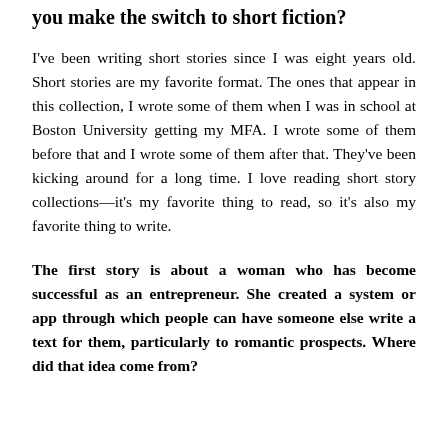you make the switch to short fiction?
I've been writing short stories since I was eight years old. Short stories are my favorite format. The ones that appear in this collection, I wrote some of them when I was in school at Boston University getting my MFA. I wrote some of them before that and I wrote some of them after that. They've been kicking around for a long time. I love reading short story collections—it's my favorite thing to read, so it's also my favorite thing to write.
The first story is about a woman who has become successful as an entrepreneur. She created a system or app through which people can have someone else write a text for them, particularly to romantic prospects. Where did that idea come from?